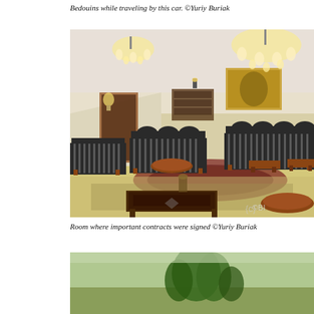Bedouins while traveling by this car. ©Yuriy Buriak
[Figure (photo): Interior room with striped sofas arranged around low wooden tables, ornate chandelier, wall painting, and decorative rug on marble floor.]
Room where important contracts were signed ©Yuriy Buriak
[Figure (photo): Partial view of outdoor scene, partially cut off at bottom of page.]